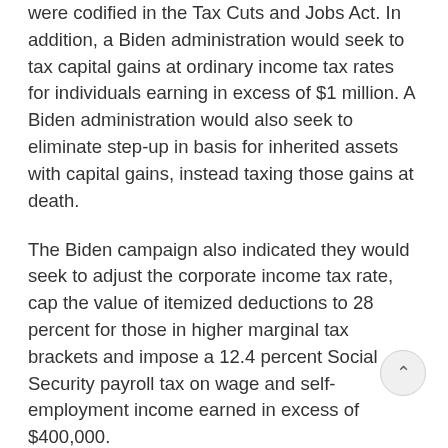were codified in the Tax Cuts and Jobs Act. In addition, a Biden administration would seek to tax capital gains at ordinary income tax rates for individuals earning in excess of $1 million. A Biden administration would also seek to eliminate step-up in basis for inherited assets with capital gains, instead taxing those gains at death.
The Biden campaign also indicated they would seek to adjust the corporate income tax rate, cap the value of itemized deductions to 28 percent for those in higher marginal tax brackets and impose a 12.4 percent Social Security payroll tax on wage and self-employment income earned in excess of $400,000.